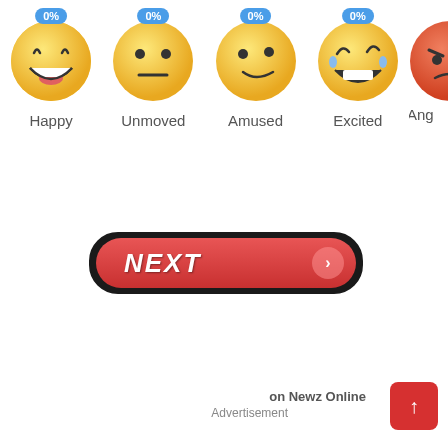[Figure (infographic): Row of emoji reaction faces with percentage badges. Happy (0%), Unmoved (0%), Amused (0%), Excited (0%), and partially visible Angry emoji. Each emoji is a yellow circular face with a blue badge showing 0% on top.]
[Figure (other): A red 'NEXT' button with rounded pill shape, black border, italic bold white text 'NEXT' and a pink circle arrow icon on the right.]
on Newz Online
Advertisement
[Figure (other): Red square button with upward arrow icon (scroll to top)]